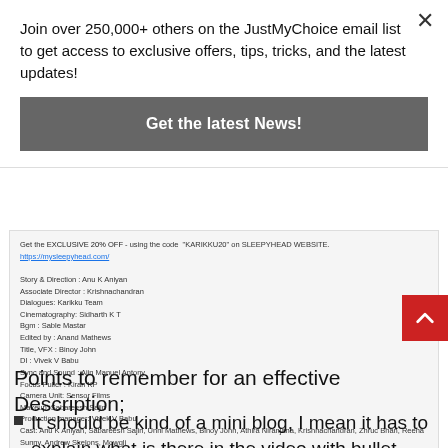Join over 250,000+ others on the JustMyChoice email list to get access to exclusive offers, tips, tricks, and the latest updates!
Get the latest News!
[Figure (screenshot): Screenshot of a YouTube video description showing crew credits for a Malayalam short film including Story & Direction, Associate Director, Dialogues, Cinematography, BGM, Editing, Title/VFX, DI, Sync and Sound, Focus Puller, Camera Unit, Makeup, Production manager, and Cast credits. Also shows a link to mysleepyhead.com with an exclusive 20% OFF code 'KARIKKU20' on SLEEPYHEAD WEBSITE.]
Points to remember for an effective Description;
It should be kind of a mini blog, I mean it has to explain what is there in the video with bullet